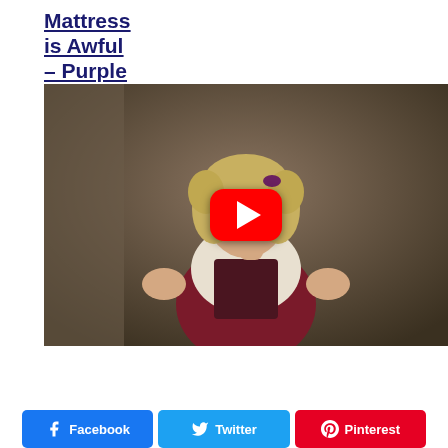Mattress is Awful – Purple
[Figure (screenshot): Video thumbnail showing a young woman with curly blonde hair wearing a white blouse and dark red dirndl/apron dress, with hands raised, overlaid with a YouTube play button.]
Read more ...
[Figure (other): Brown rounded rectangle button labeled 'Locations']
Facebook
Twitter
Pinterest